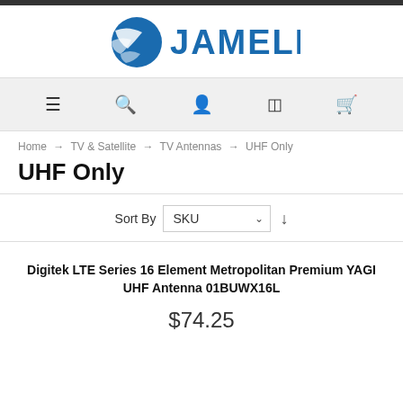[Figure (logo): Jamell company logo with blue globe-like icon and JAMELL text in blue]
[Figure (screenshot): Navigation bar with menu, search, account, compare, and cart icons]
Home → TV & Satellite → TV Antennas → UHF Only
UHF Only
Sort By SKU ↓
Digitek LTE Series 16 Element Metropolitan Premium YAGI UHF Antenna 01BUWX16L
$74.25